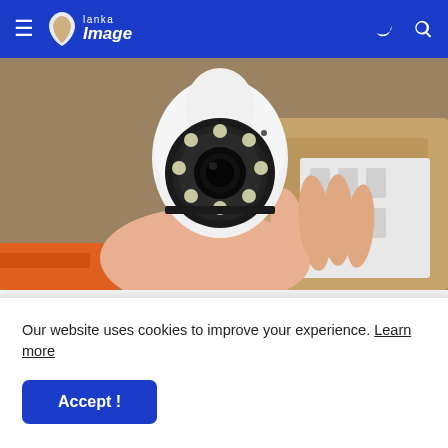Lanka Image
[Figure (photo): A hand holding a white dome security camera with multiple LED lights around the lens, shown against a background with cardboard boxes and orange tools.]
Homeowners Are Trading in Their Doorbell Cams for This.
Keilini
[Figure (photo): Partial strip of a second article image visible at the bottom of the feed.]
Our website uses cookies to improve your experience. Learn more
Accept !